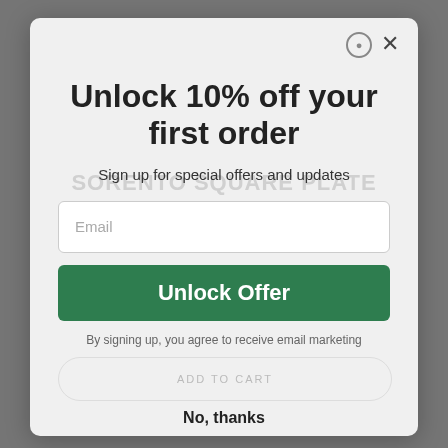Unlock 10% off your first order
Sign up for special offers and updates
Email
Unlock Offer
By signing up, you agree to receive email marketing
ADD TO CART
No, thanks